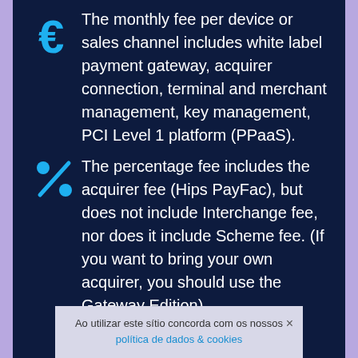The monthly fee per device or sales channel includes white label payment gateway, acquirer connection, terminal and merchant management, key management, PCI Level 1 platform (PPaaS).
The percentage fee includes the acquirer fee (Hips PayFac), but does not include Interchange fee, nor does it include Scheme fee. (If you want to bring your own acquirer, you should use the Gateway Edition).
Ao utilizar este sítio concorda com os nossos política de dados & cookies